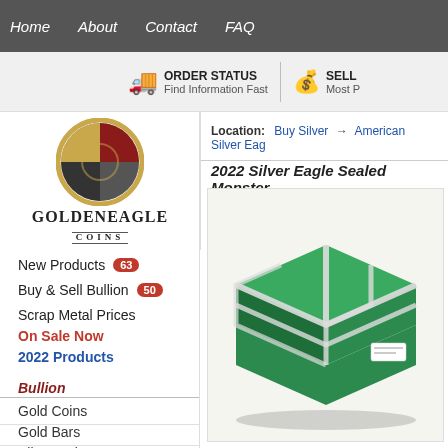Home  About  Contact  FAQ
ORDER STATUS Find Information Fast  |  SELL Most P...
[Figure (logo): Golden Eagle Coins logo — circular emblem with gold, grey, and red segments, with text GOLDEN EAGLE COINS below]
New Products  63
Buy & Sell Bullion  50
Scrap Metal Prices
On Sale Now
2022 Products
Bullion
Gold Coins
Gold Bars
Silver Coins
Silver Bars
Platinum
Palladium
Location: Buy Silver → American Silver Eag...
2022 Silver Eagle Sealed Monster...
[Figure (photo): Green sealed monster box with silver/white strapping tape crossing over it in an X pattern, with a small white label on the front right side]